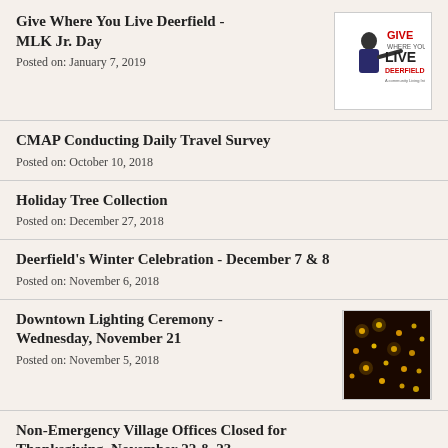Give Where You Live Deerfield - MLK Jr. Day
Posted on: January 7, 2019
[Figure (illustration): Give Where You Live Deerfield logo with man pointing]
CMAP Conducting Daily Travel Survey
Posted on: October 10, 2018
Holiday Tree Collection
Posted on: December 27, 2018
Deerfield's Winter Celebration - December 7 & 8
Posted on: November 6, 2018
Downtown Lighting Ceremony - Wednesday, November 21
Posted on: November 5, 2018
[Figure (photo): Photo of string lights in dark background]
Non-Emergency Village Offices Closed for Thanksgiving, November 22 & 23